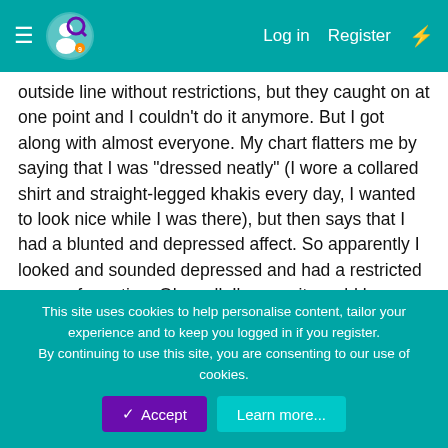Log in  Register
outside line without restrictions, but they caught on at one point and I couldn't do it anymore. But I got along with almost everyone. My chart flatters me by saying that I was "dressed neatly" (I wore a collared shirt and straight-legged khakis every day, I wanted to look nice while I was there), but then says that I had a blunted and depressed affect. So apparently I looked and sounded depressed and had a restricted range of emotion. Oh, well. I'm sure it would be different if I was there now.
Enjoy yourself, most of the staff there are very considerate.
Hey, wait, you're there now? How are you accessing the internet? They had all internet devices banned when I was there. I had to lie about my Nook and Sony PSP, and they found out about the PSP while I was there. I had to convince them to
This site uses cookies to help personalise content, tailor your experience and to keep you logged in if you register.
By continuing to use this site, you are consenting to our use of cookies.